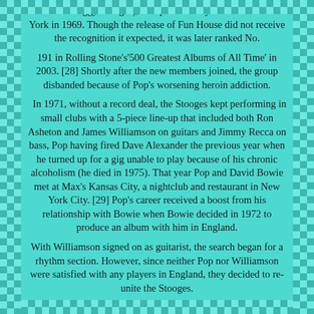credited as "Iggy Stooge"), was produced by John Cale in New York in 1969. Though the release of Fun House did not receive the recognition it expected, it was later ranked No.
191 in Rolling Stone's'500 Greatest Albums of All Time' in 2003. [28] Shortly after the new members joined, the group disbanded because of Pop's worsening heroin addiction.
In 1971, without a record deal, the Stooges kept performing in small clubs with a 5-piece line-up that included both Ron Asheton and James Williamson on guitars and Jimmy Recca on bass, Pop having fired Dave Alexander the previous year when he turned up for a gig unable to play because of his chronic alcoholism (he died in 1975). That year Pop and David Bowie met at Max's Kansas City, a nightclub and restaurant in New York City. [29] Pop's career received a boost from his relationship with Bowie when Bowie decided in 1972 to produce an album with him in England.
With Williamson signed on as guitarist, the search began for a rhythm section. However, since neither Pop nor Williamson were satisfied with any players in England, they decided to re-unite the Stooges.
Ron Asheton grudgingly moved from guitar to bass. The